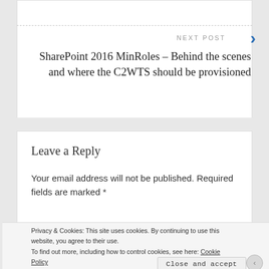NEXT POST
SharePoint 2016 MinRoles – Behind the scenes and where the C2WTS should be provisioned
Leave a Reply
Your email address will not be published. Required fields are marked *
Privacy & Cookies: This site uses cookies. By continuing to use this website, you agree to their use.
To find out more, including how to control cookies, see here: Cookie Policy
Close and accept